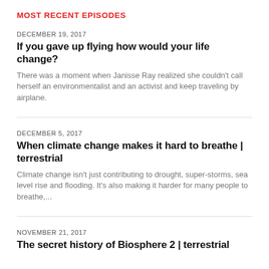MOST RECENT EPISODES
DECEMBER 19, 2017
If you gave up flying how would your life change?
There was a moment when Janisse Ray realized she couldn't call herself an environmentalist and an activist and keep traveling by airplane.
DECEMBER 5, 2017
When climate change makes it hard to breathe | terrestrial
Climate change isn't just contributing to drought, super-storms, sea level rise and flooding. It's also making it harder for many people to breathe,...
NOVEMBER 21, 2017
The secret history of Biosphere 2 | terrestrial